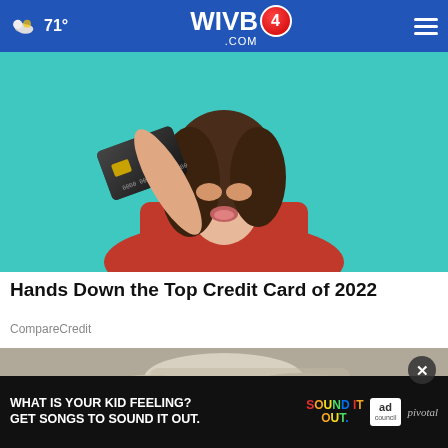71° WIVB4.COM
[Figure (photo): Woman in red sweater holding a dark credit card over her eye, posing against a teal background]
Hands Down the Top Credit Card of 2022
CompareCredit
[Figure (photo): Partial image of shoes/feet, with an ad overlay: WHAT IS YOUR KID FEELING? GET SONGS TO SOUND IT OUT. Sound It Out / Ad Council / pivotal]
WHAT IS YOUR KID FEELING? GET SONGS TO SOUND IT OUT.